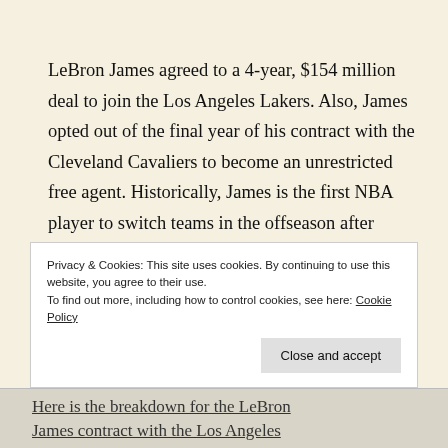LeBron James agreed to a 4-year, $154 million deal to join the Los Angeles Lakers. Also, James opted out of the final year of his contract with the Cleveland Cavaliers to become an unrestricted free agent. Historically, James is the first NBA player to switch teams in the offseason after leading the preceding postseason with the total score of points. Bobby Marks explained LeBron James' new contract with this tweet:
Privacy & Cookies: This site uses cookies. By continuing to use this website, you agree to their use.
To find out more, including how to control cookies, see here: Cookie Policy
Here is the breakdown for the LeBron James contract with the Los Angeles